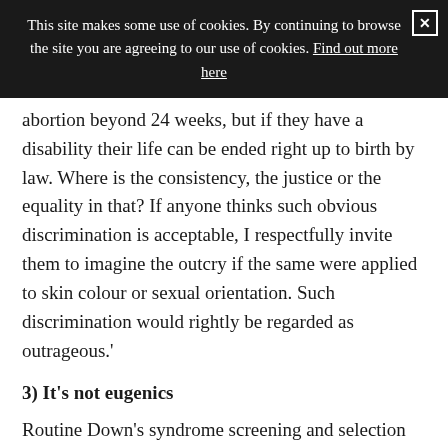This site makes some use of cookies. By continuing to browse the site you are agreeing to our use of cookies. Find out more here
abortion beyond 24 weeks, but if they have a disability their life can be ended right up to birth by law. Where is the consistency, the justice or the equality in that? If anyone thinks such obvious discrimination is acceptable, I respectfully invite them to imagine the outcry if the same were applied to skin colour or sexual orientation. Such discrimination would rightly be regarded as outrageous.'
3) It's not eugenics
Routine Down's syndrome screening and selection goes against the Charter of Fundamental Rights of the European Union which condemns "Any discrimination